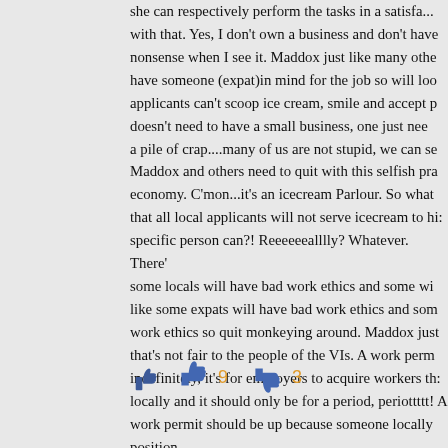she can respectively perform the tasks in a satisfa... with that. Yes, I don't own a business and don't have nonsense when I see it. Maddox just like many othe have someone (expat)in mind for the job so will loo applicants can't scoop ice cream, smile and accept p doesn't need to have a small business, one just nee a pile of crap....many of us are not stupid, we can se Maddox and others need to quit with this selfish pra economy. C'mon...it's an icecream Parlour. So what that all local applicants will not serve icecream to hi: specific person can?! Reeeeeealllly? Whatever. There' some locals will have bad work ethics and some wi like some expats will have bad work ethics and som work ethics so quit monkeying around. Maddox just that's not fair to the people of the VIs. A work perm indefinitely, it's for employers to acquire workers th: locally and it should only be for a period, periottttt! A work permit should be up because someone locally position.
[Figure (other): Thumbs up icon (blue) with count 9 and thumbs down icon (blue/grey) with count 3 — Facebook-style reaction buttons]